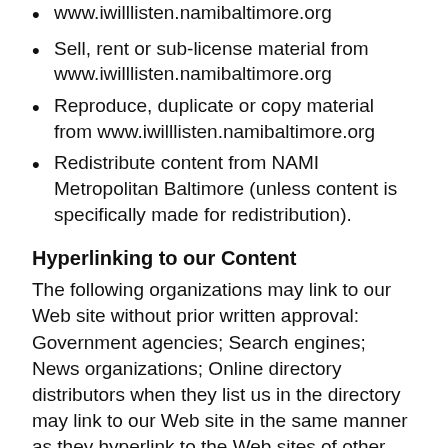www.iwilllisten.namibaltimore.org
Sell, rent or sub-license material from www.iwilllisten.namibaltimore.org
Reproduce, duplicate or copy material from www.iwilllisten.namibaltimore.org
Redistribute content from NAMI Metropolitan Baltimore (unless content is specifically made for redistribution).
Hyperlinking to our Content
The following organizations may link to our Web site without prior written approval: Government agencies; Search engines; News organizations; Online directory distributors when they list us in the directory may link to our Web site in the same manner as they hyperlink to the Web sites of other listed